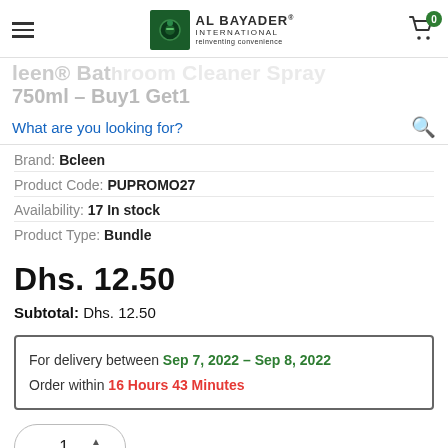AL BAYADER INTERNATIONAL reinventing convenience
Bcleen® Bathroom Cleaner Spray 750ml – Buy1 Get1
What are you looking for?
Brand: Bcleen
Product Code: PUPROMO27
Availability: 17 In stock
Product Type: Bundle
Dhs. 12.50
Subtotal: Dhs. 12.50
For delivery between Sep 7, 2022 - Sep 8, 2022 Order within 16 Hours 43 Minutes